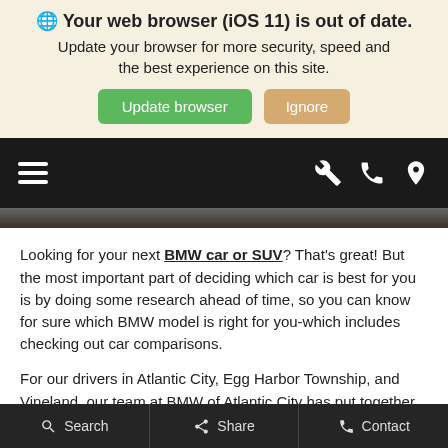🌐 Your web browser (iOS 11) is out of date. Update your browser for more security, speed and the best experience on this site.
Update browser | Ignore
[Figure (screenshot): Black navigation bar with hamburger menu on left and wrench, phone, and location pin icons on right]
Looking for your next BMW car or SUV? That's great! But the most important part of deciding which car is best for you is by doing some research ahead of time, so you can know for sure which BMW model is right for you-which includes checking out car comparisons.
For our drivers in Atlantic City, Egg Harbor Township, and Vineland, our team at BMW of Atlantic City has put together these car comparisons, so that you can learn not just about the BMW models you're interested in, but similar models on the market, too!
Search | Share | Contact